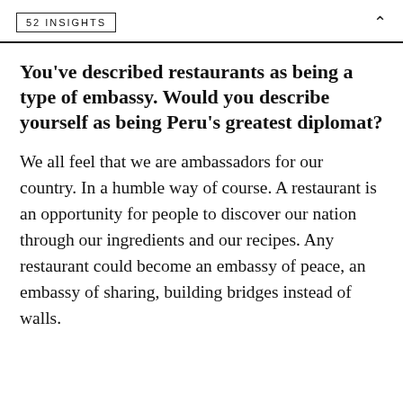52 INSIGHTS
You've described restaurants as being a type of embassy. Would you describe yourself as being Peru's greatest diplomat?
We all feel that we are ambassadors for our country. In a humble way of course. A restaurant is an opportunity for people to discover our nation through our ingredients and our recipes. Any restaurant could become an embassy of peace, an embassy of sharing, building bridges instead of walls.